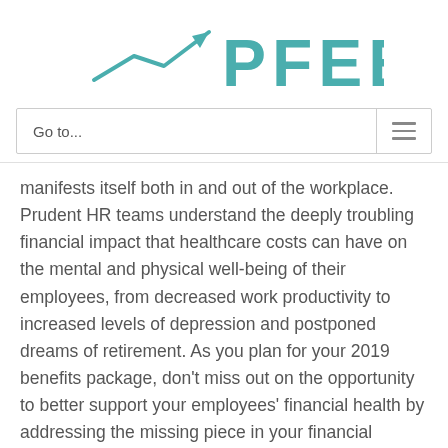[Figure (logo): PFEEF logo with upward trending arrow/chart icon in teal, followed by the text PFEEF in large teal letters]
| Go to... | ≡ |
manifests itself both in and out of the workplace. Prudent HR teams understand the deeply troubling financial impact that healthcare costs can have on the mental and physical well-being of their employees, from decreased work productivity to increased levels of depression and postponed dreams of retirement. As you plan for your 2019 benefits package, don't miss out on the opportunity to better support your employees' financial health by addressing the missing piece in your financial wellness program: the financial